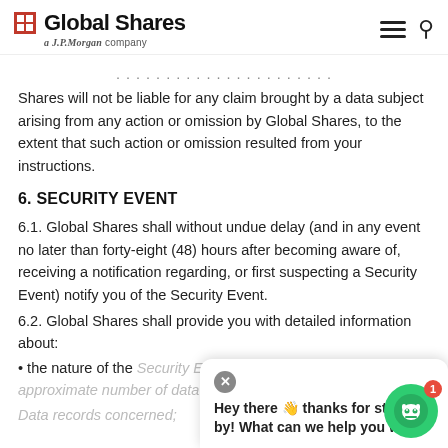Global Shares — a J.P.Morgan company
Shares will not be liable for any claim brought by a data subject arising from any action or omission by Global Shares, to the extent that such action or omission resulted from your instructions.
6. SECURITY EVENT
6.1. Global Shares shall without undue delay (and in any event no later than forty-eight (48) hours after becoming aware of, receiving a notification regarding, or first suspecting a Security Event) notify you of the Security Event.
6.2. Global Shares shall provide you with detailed information about:
• the nature of the Security Event including the categories and approximate number of data subjects and Personal Data records concerned;